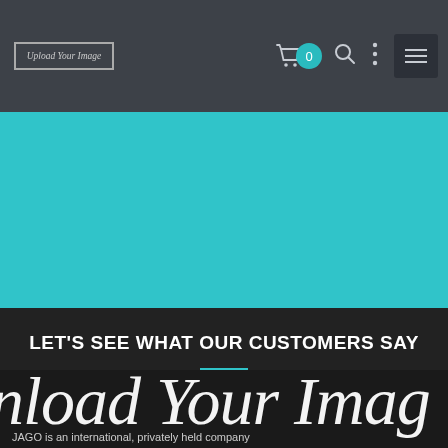[Figure (screenshot): Website navigation bar with logo placeholder 'Upload Your Image', shopping cart icon with teal badge showing 0, search icon, vertical dots menu icon, and hamburger menu icon on dark gray background]
[Figure (other): Teal/cyan colored banner section]
LET'S SEE WHAT OUR CUSTOMERS SAY
[Figure (other): Large white cursive text reading 'nload Your Imag' partially visible, with caption text 'JAGO is an international, privately held company' overlaid at bottom]